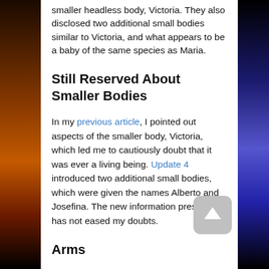smaller headless body, Victoria. They also disclosed two additional small bodies similar to Victoria, and what appears to be a baby of the same species as Maria.
Still Reserved About Smaller Bodies
In my previous article, I pointed out aspects of the smaller body, Victoria, which led me to cautiously doubt that it was ever a living being. Update 4 introduced two additional small bodies, which were given the names Alberto and Josefina. The new information presented has not eased my doubts.
Arms